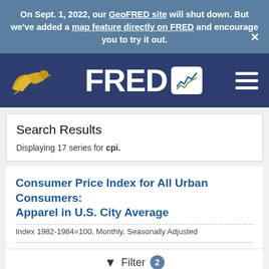On Sept. 1, 2022, our GeoFRED site will shut down. But we've added a map feature directly on FRED and encourage you to try it out.
[Figure (logo): FRED (Federal Reserve Economic Data) navigation bar with eagle logo on left, FRED logo with chart icon in center, and hamburger menu on right, on dark navy background]
Search Results
Displaying 17 series for cpi.
Consumer Price Index for All Urban Consumers: Apparel in U.S. City Average
Index 1982-1984=100, Monthly, Seasonally Adjusted
Filter 2